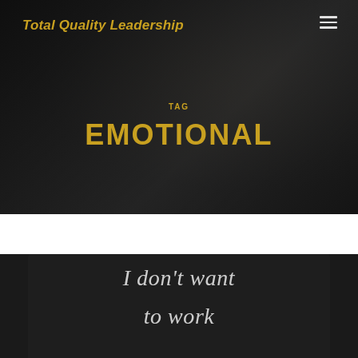Total Quality Leadership
TAG
EMOTIONAL
[Figure (photo): Chalkboard with handwritten text reading 'I don't want to work']